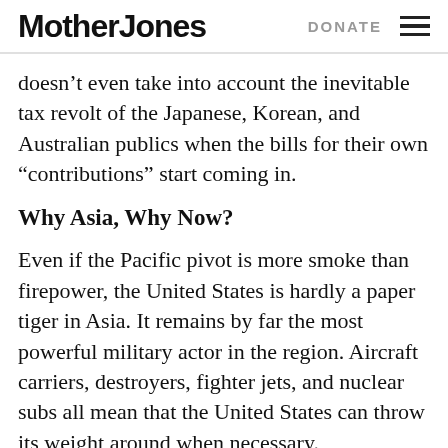Mother Jones | DONATE
doesn’t even take into account the inevitable tax revolt of the Japanese, Korean, and Australian publics when the bills for their own “contributions” start coming in.
Why Asia, Why Now?
Even if the Pacific pivot is more smoke than firepower, the United States is hardly a paper tiger in Asia. It remains by far the most powerful military actor in the region. Aircraft carriers, destroyers, fighter jets, and nuclear subs all mean that the United States can throw its weight around when necessary.